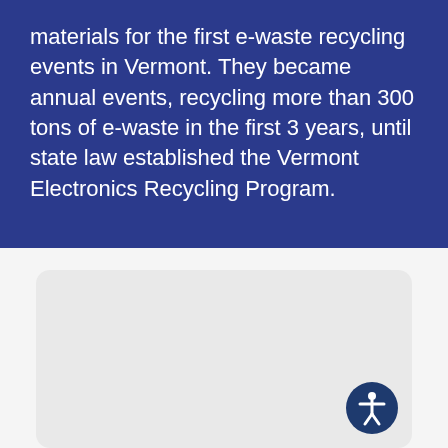materials for the first e-waste recycling events in Vermont. They became annual events, recycling more than 300 tons of e-waste in the first 3 years, until state law established the Vermont Electronics Recycling Program.
[Figure (other): Light gray rounded card/panel placeholder in a white/light gray background section, with an accessibility icon button (person in circle) in the bottom-right corner.]